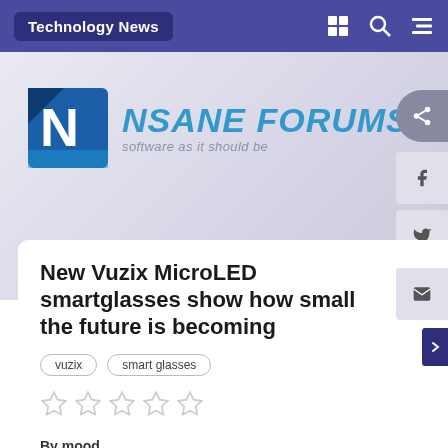Technology News
[Figure (logo): NSANE FORUMS logo with blue N icon and tagline 'software as it should be']
New Vuzix MicroLED smartglasses show how small the future is becoming
vuzix
smart glasses
By mood,
January 12, 2021 in Technology News